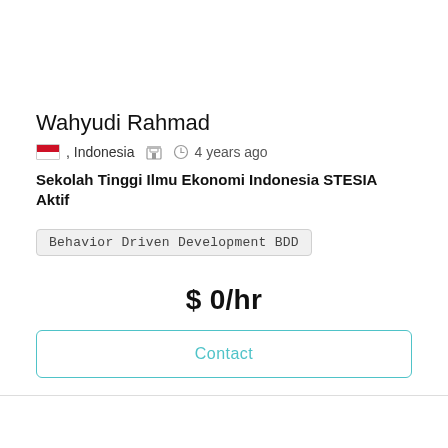Wahyudi Rahmad
, Indonesia   4 years ago
Sekolah Tinggi Ilmu Ekonomi Indonesia STESIA Aktif
Behavior Driven Development BDD
$ 0/hr
Contact